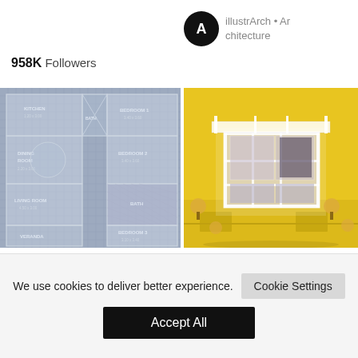illustrArch • Architecture
958K Followers
[Figure (illustration): Architectural floor plan blueprint on blue-grey grid background showing rooms: Kitchen, Bath, Bedroom 1, Dining Room, Bedroom 2, Living Room, Bath, Veranda, Bedroom 3]
[Figure (illustration): Isometric 3D architectural render of a modern building with white structural frame, yellow surrounding landscape with trees]
We use cookies to deliver better experience.
Cookie Settings
Accept All